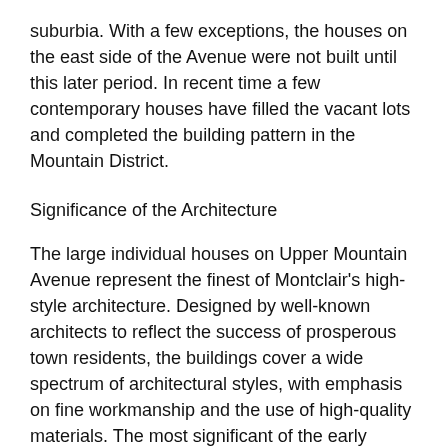suburbia. With a few exceptions, the houses on the east side of the Avenue were not built until this later period. In recent time a few contemporary houses have filled the vacant lots and completed the building pattern in the Mountain District.
Significance of the Architecture
The large individual houses on Upper Mountain Avenue represent the finest of Montclair's high-style architecture. Designed by well-known architects to reflect the success of prosperous town residents, the buildings cover a wide spectrum of architectural styles, with emphasis on fine workmanship and the use of high-quality materials. The most significant of the early architect-designed houses clustered around the Van Vleck Street area. Henry Hudson Holly, once a resident of Montclair, built three houses on Upper Mountain Avenue after the mid-19th century.[6] The